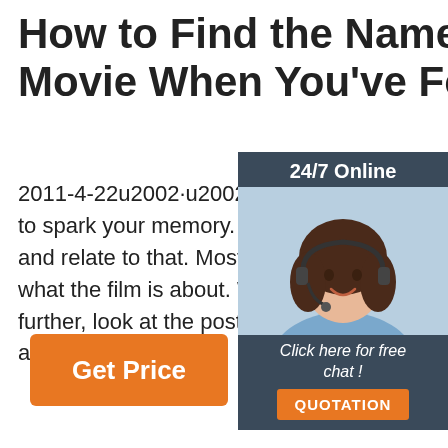How to Find the Name of a Movie When You've Forgot
2011-4-22u2002·u2002Just seeing the title may not be enough to spark your memory. Think what the movie is about and try and relate to that. Most titles will make sense in relation to what the film is about. When you click on a title to investigate further, look at the poster cover image, look at the character and a... and ...
[Figure (infographic): Sidebar overlay with dark blue-gray background showing '24/7 Online' label, photo of a woman with headset smiling, 'Click here for free chat!' text in white italic, and orange QUOTATION button]
[Figure (infographic): Orange rounded-rectangle button with white text 'Get Price']
[Figure (infographic): Orange dotted triangle/arrow icon with 'TOP' text in orange, indicating scroll-to-top button]